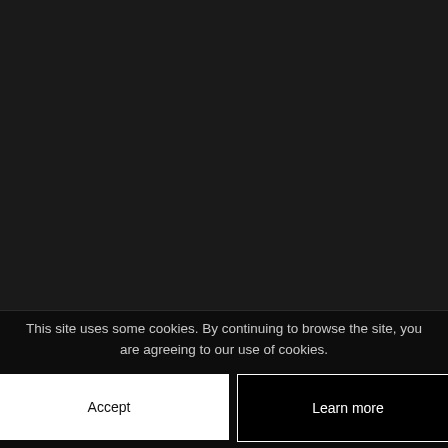[Figure (photo): Dark/black background image area occupying the upper portion of the page]
This site uses some cookies. By continuing to browse the site, you are agreeing to our use of cookies.
Accept
Learn more